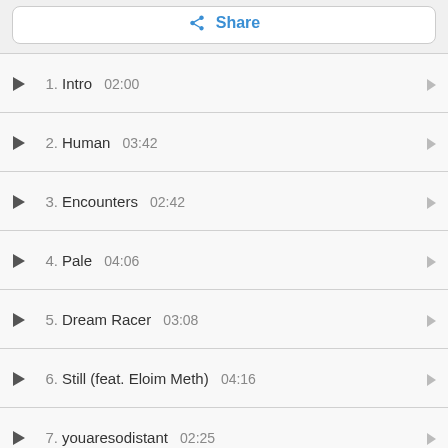Share
1. Intro  02:00
2. Human  03:42
3. Encounters  02:42
4. Pale  04:06
5. Dream Racer  03:08
6. Still (feat. Eloim Meth)  04:16
7. youaresodistant  02:25
8. Hurt  01:56
9. Sandra's Eyes  03:15
10. Invisible  03:12